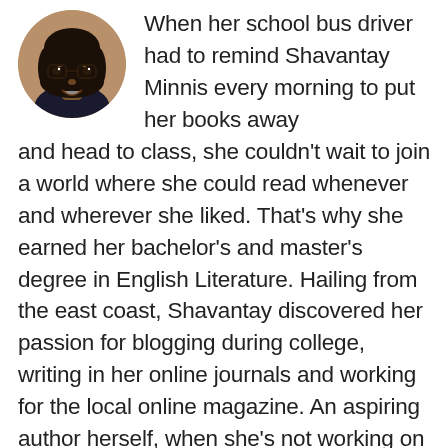[Figure (photo): Circular avatar photo of a young Black woman with glasses and long dark hair, smiling]
When her school bus driver had to remind Shavantay Minnis every morning to put her books away and head to class, she couldn't wait to join a world where she could read whenever and wherever she liked. That's why she earned her bachelor's and master's degree in English Literature. Hailing from the east coast, Shavantay discovered her passion for blogging during college, writing in her online journals and working for the local online magazine. An aspiring author herself, when she's not working on her own stories, Shavantay enjoys traveling, taste-testing different vegan restaurants, finding new books to borrow from her friends, and encouraging others to fall in love with the